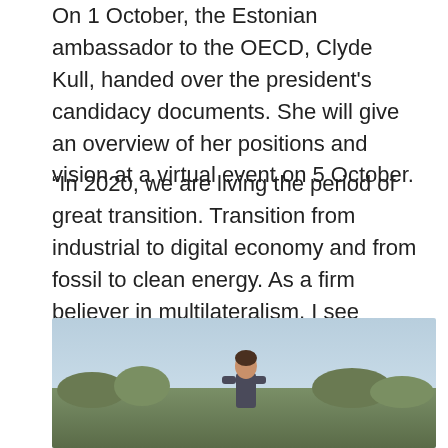On 1 October, the Estonian ambassador to the OECD, Clyde Kull, handed over the president's candidacy documents. She will give an overview of her positions and vision at a virtual event on 5 October.
“In 2020, we are living the period of great transition. Transition from industrial to digital economy and from fossil to clean energy. As a firm believer in multilateralism, I see OECD as an enabler for its global community of developed nations taking an active role in bringing together the best knowledge globally to help the governments cope with these changes,” Kaljulaid said.
[Figure (photo): Outdoor photo of a person standing in a natural setting with sky and foliage in the background]